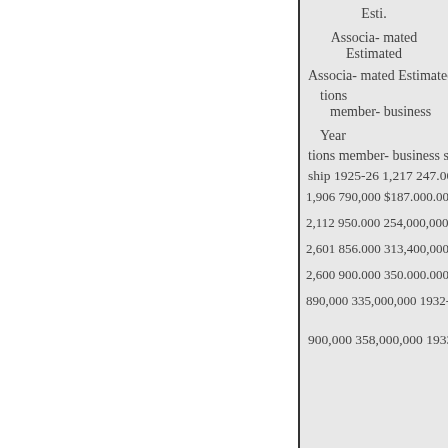| Year | Associations | Estimated membership | Estimated business | Year |
| --- | --- | --- | --- | --- |
| 1925-26 | 1,217 | 247,000 | $13... |  |
|  | 1,906 | 790,000 | $187,000,000 | 1... |
|  | 2,112 | 950,000 | 254,000,000 | 19... |
|  | 2,601 | 856,000 | 313,400,000 | 19... |
|  | 2,600 | 900,000 | 350,000,000 | 19... |
|  |  | 890,000 | 335,000,000 | 1932-33 |
|  |  | 900,000 | 358,000,000 | 1933-34 |